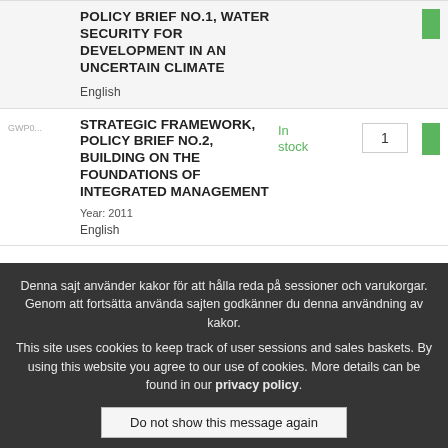| SKU | Title | Language | Status | Qty |  |
| --- | --- | --- | --- | --- | --- |
| GWP0... | POLICY BRIEF NO.1, WATER SECURITY FOR DEVELOPMENT IN AN UNCERTAIN CLIMATE | English |  |  |  |
| GWP0... | STRATEGIC FRAMEWORK, POLICY BRIEF NO.2, BUILDING ON THE FOUNDATIONS OF INTEGRATED MANAGEMENT | English | In stock | 1 |  |
Denna sajt använder kakor för att hålla reda på sessioner och varukorgar. Genom att fortsätta använda sajten godkänner du denna användning av kakor.
This site uses cookies to keep track of user sessions and sales baskets. By using this website you agree to our use of cookies. More details can be found in our privacy policy.
Do not show this message again